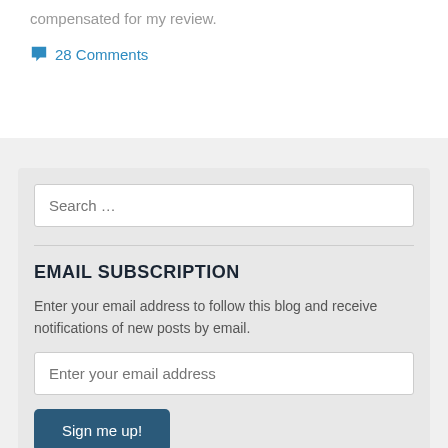compensated for my review.
28 Comments
Search ...
EMAIL SUBSCRIPTION
Enter your email address to follow this blog and receive notifications of new posts by email.
Enter your email address
Sign me up!